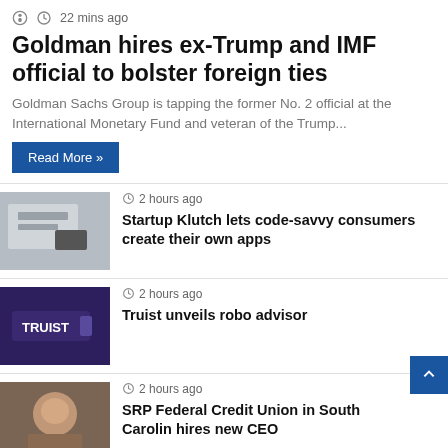22 mins ago
Goldman hires ex-Trump and IMF official to bolster foreign ties
Goldman Sachs Group is tapping the former No. 2 official at the International Monetary Fund and veteran of the Trump...
Read More »
2 hours ago — Startup Klutch lets code-savvy consumers create their own apps
2 hours ago — Truist unveils robo advisor
2 hours ago — SRP Federal Credit Union in South Carolina hires new CEO
3 hours ago — FHFA to launch probe of Federal Home Loan...